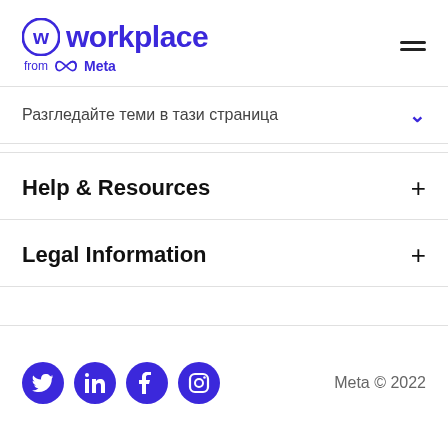[Figure (logo): Workplace from Meta logo with circular W icon in purple, text 'workplace' in purple bold, and 'from Meta' subtitle with Meta infinity logo]
Разгледайте теми в тази страница
Help & Resources
Legal Information
Meta © 2022